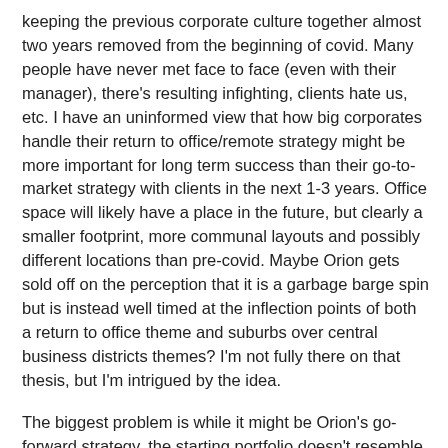keeping the previous corporate culture together almost two years removed from the beginning of covid.  Many people have never met face to face (even with their manager), there's resulting infighting, clients hate us, etc.  I have an uninformed view that how big corporates handle their return to office/remote strategy might be more important for long term success than their go-to-market strategy with clients in the next 1-3 years.  Office space will likely have a place in the future, but clearly a smaller footprint, more communal layouts and possibly different locations than pre-covid.  Maybe Orion gets sold off on the perception that it is a garbage barge spin but is instead well timed at the inflection points of both a return to office theme and suburbs over central business districts themes?  I'm not fully there on that thesis, but I'm intrigued by the idea.
The biggest problem is while it might be Orion's go-forward strategy, the starting portfolio doesn't resemble a long-term leased sun-belt suburban office portfolio.  The weighted average lease life is less than 3.5 years and many of their 92 properties are large headquarter like campuses in the northeast and midwest.  For example, they will own the old